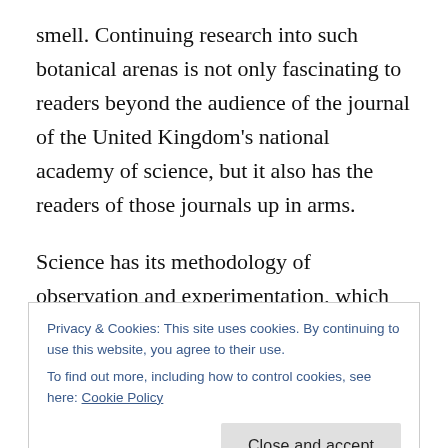smell. Continuing research into such botanical arenas is not only fascinating to readers beyond the audience of the journal of the United Kingdom's national academy of science, but it also has the readers of those journals up in arms.
Science has its methodology of observation and experimentation, which moves slowly by design in order to provide accurate, reproducible data. But when the findings from such studies are as fascinating as those discussed in the New York Times story below, it's inevitable that writers,
Privacy & Cookies: This site uses cookies. By continuing to use this website, you agree to their use.
To find out more, including how to control cookies, see here: Cookie Policy
mainstream scientists. Which seems like a good thing to